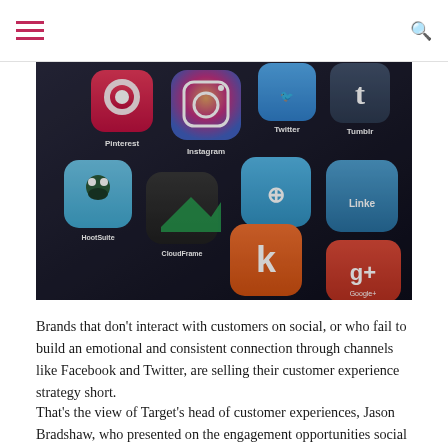≡  🔍
[Figure (photo): Close-up of a smartphone screen showing social media app icons including Pinterest, Instagram, Twitter, Tumblr, HootSuite, CloudFrame, Foursquare, Kik, LinkedIn, and Google+]
Brands that don't interact with customers on social, or who fail to build an emotional and consistent connection through channels like Facebook and Twitter, are selling their customer experience strategy short.
That's the view of Target's head of customer experiences, Jason Bradshaw, who presented on the engagement opportunities social presents during the Customer 360 Symposium in Sydney's